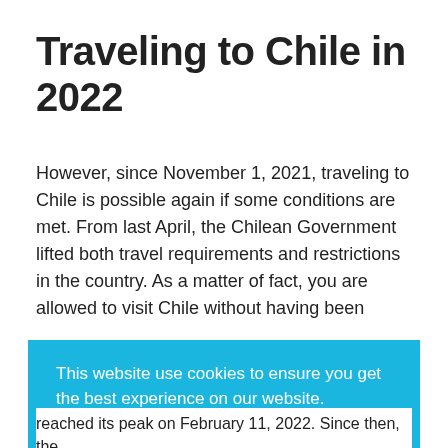Traveling to Chile in 2022
However, since November 1, 2021, traveling to Chile is possible again if some conditions are met. From last April, the Chilean Government lifted both travel requirements and restrictions in the country. As a matter of fact, you are allowed to visit Chile without having been
This website use cookies to ensure you get the best experience on our website.
Learn more
Got it!
reached its peak on February 11, 2022. Since then, the